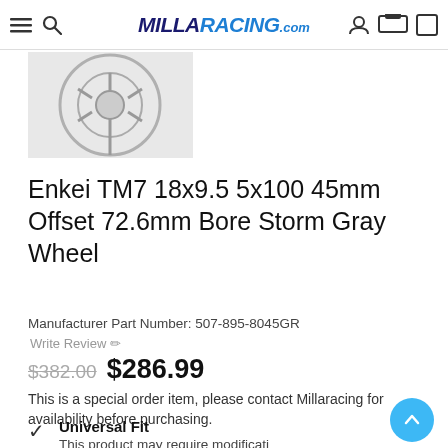MillaRacing.com
[Figure (photo): Partial view of a gray wheel/rim product image]
Enkei TM7 18x9.5 5x100 45mm Offset 72.6mm Bore Storm Gray Wheel
Manufacturer Part Number: 507-895-8045GR
Write Review ✏
$382.00  $286.99
This is a special order item, please contact Millaracing for availability before purchasing.
Vendor : Enkei
Sku : ENK507-895-8045GR
Universal Fit
This product may require modificati…
Quantity